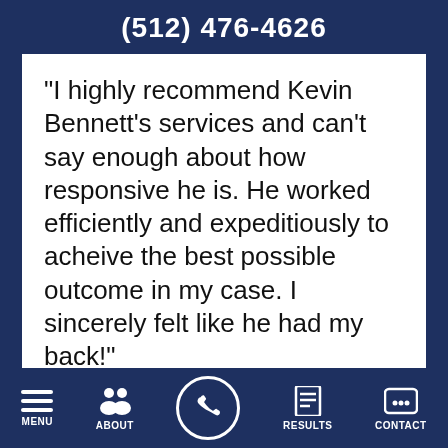(512) 476-4626
"I highly recommend Kevin Bennett's services and can't say enough about how responsive he is. He worked efficiently and expeditiously to acheive the best possible outcome in my case. I sincerely felt like he had my back!"
MENU  ABOUT  [CALL]  RESULTS  CONTACT